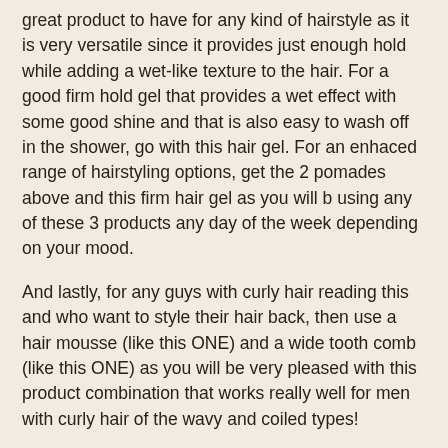great product to have for any kind of hairstyle as it is very versatile since it provides just enough hold while adding a wet-like texture to the hair. For a good firm hold gel that provides a wet effect with some good shine and that is also easy to wash off in the shower, go with this hair gel. For an enhaced range of hairstyling options, get the 2 pomades above and this firm hair gel as you will b using any of these 3 products any day of the week depending on your mood.
And lastly, for any guys with curly hair reading this and who want to style their hair back, then use a hair mousse (like this ONE) and a wide tooth comb (like this ONE) as you will be very pleased with this product combination that works really well for men with curly hair of the wavy and coiled types!
I'm one of the admins of this forum. Any questions/issue? Contact us directly through one of the ways below. We...